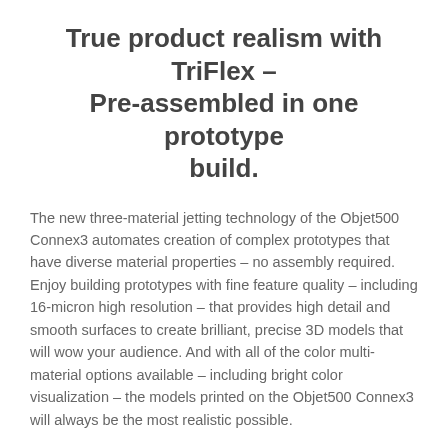True product realism with TriFlex – Pre-assembled in one prototype build.
The new three-material jetting technology of the Objet500 Connex3 automates creation of complex prototypes that have diverse material properties – no assembly required. Enjoy building prototypes with fine feature quality – including 16-micron high resolution – that provides high detail and smooth surfaces to create brilliant, precise 3D models that will wow your audience. And with all of the color multi-material options available – including bright color visualization – the models printed on the Objet500 Connex3 will always be the most realistic possible.